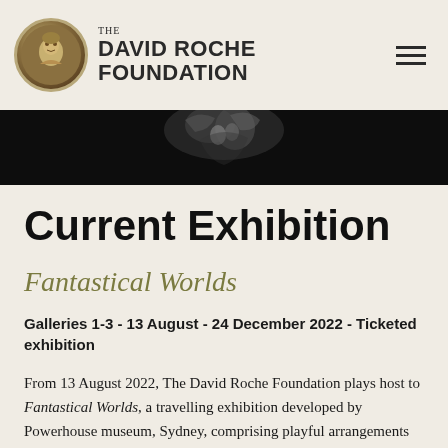THE DAVID ROCHE FOUNDATION
[Figure (photo): Black and white photo of a sculpture or figure against dark background, cropped hero band]
Current Exhibition
Fantastical Worlds
Galleries 1-3 - 13 August - 24 December 2022 - Ticketed exhibition
From 13 August 2022, The David Roche Foundation plays host to Fantastical Worlds, a travelling exhibition developed by Powerhouse museum, Sydney, comprising playful arrangements of old and new.